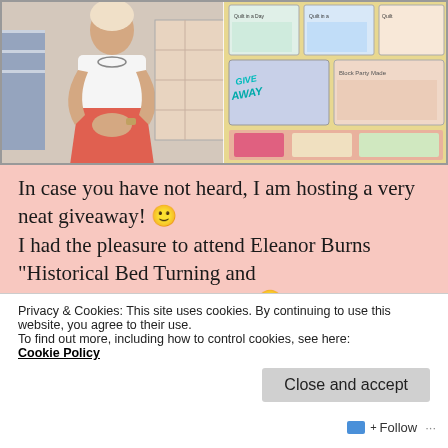[Figure (photo): Collage of two photos: left shows a woman in a white lace top and coral/red patterned skirt standing in front of a quilt; right shows quilt books and merchandise including Eleanor Burns 'Quilt in a Day' books and other quilting materials with a giveaway overlay text]
In case you have not heard, I am hosting a very neat giveaway! 🙂 I had the pleasure to attend Eleanor Burns “Historical Bed Turning and Tea” event and it was great! 🙂
Privacy & Cookies: This site uses cookies. By continuing to use this website, you agree to their use.
To find out more, including how to control cookies, see here: Cookie Policy
Close and accept